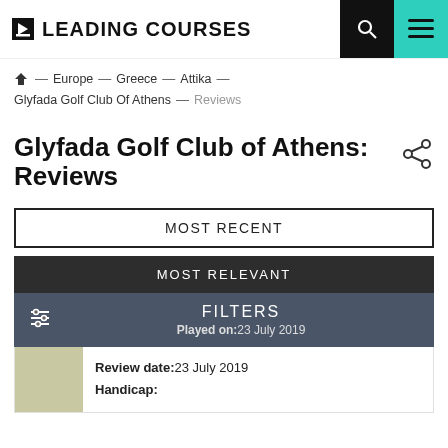LEADING COURSES
Home — Europe — Greece — Attika — Glyfada Golf Club Of Athens — Reviews
Glyfada Golf Club of Athens: Reviews
MOST RECENT
MOST RELEVANT
FILTERS Played on: 23 July 2019
Review date: 23 July 2019 Handicap: